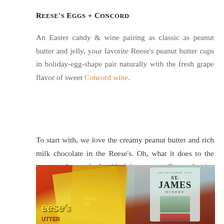Reese's Eggs + Concord
An Easter candy & wine pairing as classic as peanut butter and jelly, your favorite Reese's peanut butter cups in holiday-egg-shape pair naturally with the fresh grape flavor of sweet Concord wine.
To start with, we love the creamy peanut butter and rich milk chocolate in the Reese's. Oh, what it does to the senses when paired with juicy, sweet Concord wine that’s reminiscent of grape jam!
[Figure (photo): Photo of Reese's Peanut Butter Cups snack size packages (yellow packaging, orange branding) alongside a St. James Winery bottle of Concord wine, arranged on a white surface.]